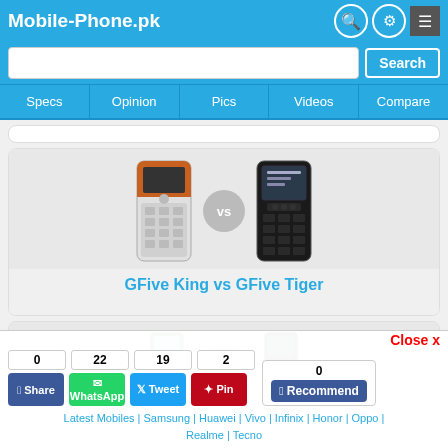Mobile-Phone.pk
Search
Specs | Opinion | Pics | Videos | Compare
[Figure (screenshot): GFive King vs GFive Tiger phone comparison cards with phone images and a VS circle between them]
GFive King vs GFive Tiger
[Figure (screenshot): Partial second comparison card showing two phones]
Close x
0  22  19  2  0
Share  WhatsApp  Tweet  Pin  Recommend
Latest Mobiles | Samsung | Huawei | Vivo | Infinix | Honor | Oppo | Realme | Tecno